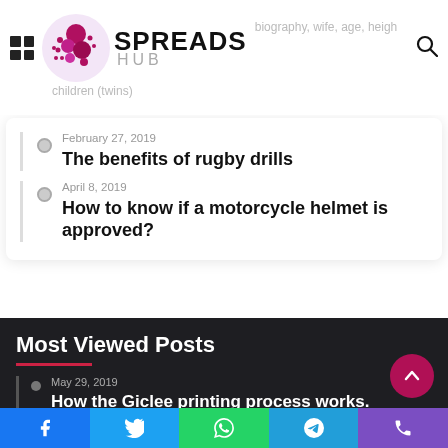SPREADS HUB
February 27, 2019 — The benefits of rugby drills
April 8, 2019 — How to know if a motorcycle helmet is approved?
Most Viewed Posts
May 29, 2019 — How the Giclee printing process works.
Social share bar: Facebook, Twitter, WhatsApp, Telegram, Phone